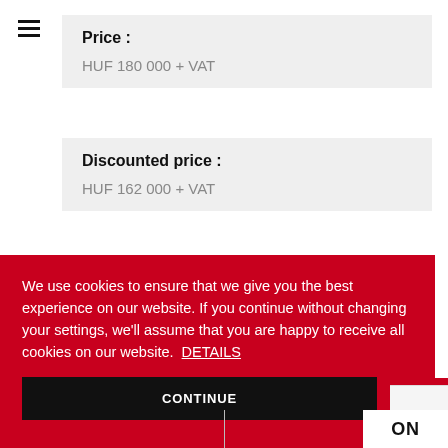Price :
HUF 180 000 + VAT
Discounted price :
HUF 162 000 + VAT
We use cookies to ensure that we give you the best experience on our website. If you continue without changing your settings, we'll assume that you are happy to receive all cookies on our website. DETAILS
CONTINUE
ON